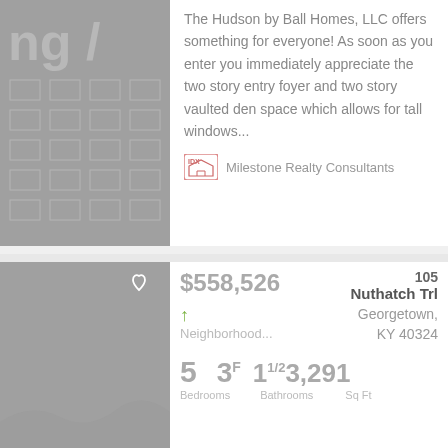The Hudson by Ball Homes, LLC offers something for everyone! As soon as you enter you immediately appreciate the two story entry foyer and two story vaulted den space which allows for tall windows...
Milestone Realty Consultants
$558,526
105 Nuthatch Trl
Georgetown, KY 40324
Neighborhood...
5 Bedrooms  3F Bathrooms  11/2  3,291 Sq Ft